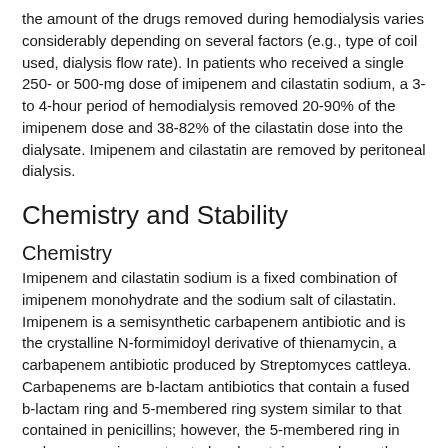the amount of the drugs removed during hemodialysis varies considerably depending on several factors (e.g., type of coil used, dialysis flow rate). In patients who received a single 250- or 500-mg dose of imipenem and cilastatin sodium, a 3- to 4-hour period of hemodialysis removed 20-90% of the imipenem dose and 38-82% of the cilastatin dose into the dialysate. Imipenem and cilastatin are removed by peritoneal dialysis.
Chemistry and Stability
Chemistry
Imipenem and cilastatin sodium is a fixed combination of imipenem monohydrate and the sodium salt of cilastatin. Imipenem is a semisynthetic carbapenem antibiotic and is the crystalline N-formimidoyl derivative of thienamycin, a carbapenem antibiotic produced by Streptomyces cattleya. Carbapenems are b-lactam antibiotics that contain a fused b-lactam ring and 5-membered ring system similar to that contained in penicillins; however, the 5-membered ring in carbapenems is unsaturated and contains a carbon rather than a sulfur atom. Imipenem has a hydroxyethyl group at